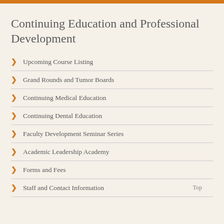Continuing Education and Professional Development
Upcoming Course Listing
Grand Rounds and Tumor Boards
Continuing Medical Education
Continuing Dental Education
Faculty Development Seminar Series
Academic Leadership Academy
Forms and Fees
Staff and Contact Information